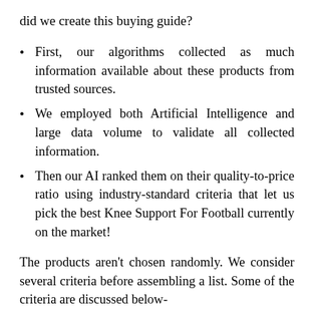did we create this buying guide?
First, our algorithms collected as much information available about these products from trusted sources.
We employed both Artificial Intelligence and large data volume to validate all collected information.
Then our AI ranked them on their quality-to-price ratio using industry-standard criteria that let us pick the best Knee Support For Football currently on the market!
The products aren't chosen randomly. We consider several criteria before assembling a list. Some of the criteria are discussed below-